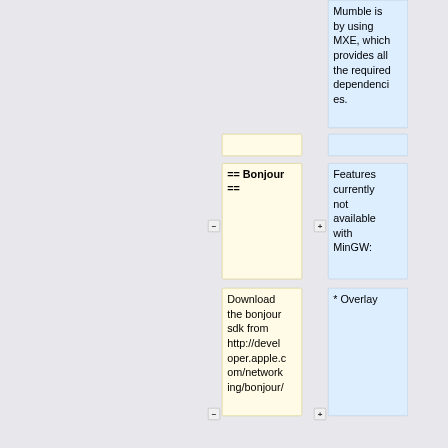Mumble is by using MXE, which provides all the required dependencies.
== Bonjour ==
Features currently not available with MinGW:
Download the bonjour sdk from http://developer.apple.com/networking/bonjour/
* Overlay